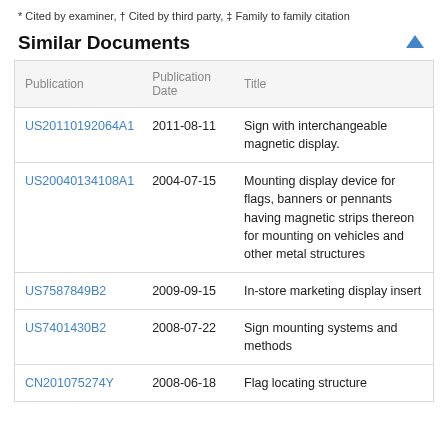* Cited by examiner, † Cited by third party, ‡ Family to family citation
Similar Documents
| Publication | Publication Date | Title |
| --- | --- | --- |
| US20110192064A1 | 2011-08-11 | Sign with interchangeable magnetic display. |
| US20040134108A1 | 2004-07-15 | Mounting display device for flags, banners or pennants having magnetic strips thereon for mounting on vehicles and other metal structures |
| US7587849B2 | 2009-09-15 | In-store marketing display insert |
| US7401430B2 | 2008-07-22 | Sign mounting systems and methods |
| CN201075274Y | 2008-06-18 | Flag locating structure |